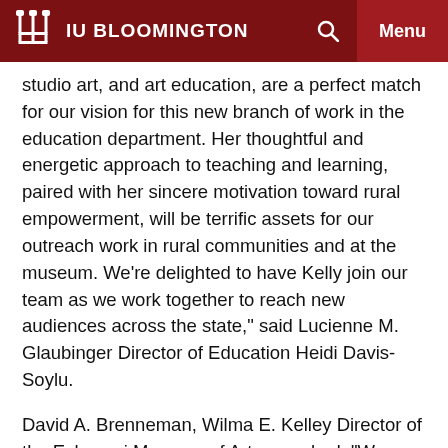IU BLOOMINGTON
studio art, and art education, are a perfect match for our vision for this new branch of work in the education department. Her thoughtful and energetic approach to teaching and learning, paired with her sincere motivation toward rural empowerment, will be terrific assets for our outreach work in rural communities and at the museum. We’re delighted to have Kelly join our team as we work together to reach new audiences across the state,” said Lucienne M. Glaubinger Director of Education Heidi Davis-Soylu.
David A. Brenneman, Wilma E. Kelley Director of the Eskenazi Museum of Art, remarked, “We are looking forward to having Kelly Jordan join us as Pre-K–12 Experiences Manager. As the museum enters this new phase with a renovated building that includes a Center